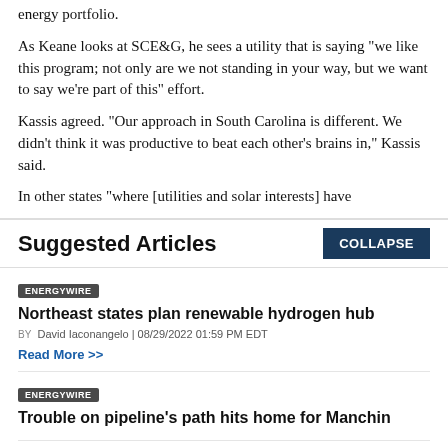energy portfolio.
As Keane looks at SCE&G, he sees a utility that is saying "we like this program; not only are we not standing in your way, but we want to say we’re part of this" effort.
Kassis agreed. "Our approach in South Carolina is different. We didn’t think it was productive to beat each other’s brains in," Kassis said.
In other states "where [utilities and solar interests] have
Suggested Articles
ENERGYWIRE
Northeast states plan renewable hydrogen hub
BY David Iaconangelo | 08/29/2022 01:59 PM EDT
Read More >>
ENERGYWIRE
Trouble on pipeline’s path hits home for Manchin